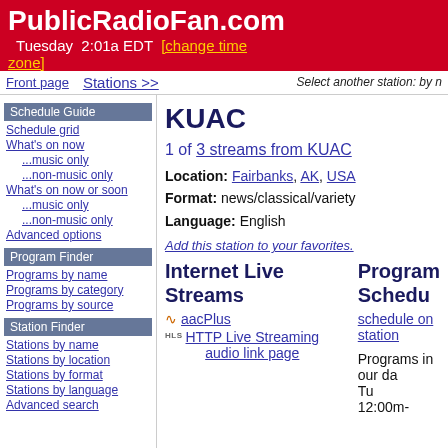PublicRadioFan.com
Tuesday 2:01a EDT [change time zone]
Front page | Stations >> | Select another station: by n...
Schedule Guide
Schedule grid
What's on now
...music only
...non-music only
What's on now or soon
...music only
...non-music only
Advanced options
KUAC
1 of 3 streams from KUAC
Location: Fairbanks, AK, USA
Format: news/classical/variety
Language: English
Add this station to your favorites.
Program Finder
Programs by name
Programs by category
Programs by source
Station Finder
Stations by name
Stations by location
Stations by format
Stations by language
Advanced search
Internet Live Streams
aacPlus
HLS HTTP Live Streaming audio link page
Program Schedule
schedule on station...
Programs in our da...
Tu    12:00m-